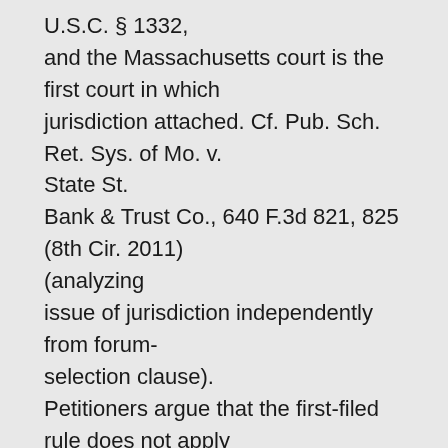U.S.C. § 1332, and the Massachusetts court is the first court in which jurisdiction attached. Cf. Pub. Sch. Ret. Sys. of Mo. v. State St. Bank & Trust Co., 640 F.3d 821, 825 (8th Cir. 2011) (analyzing issue of jurisdiction independently from forum-selection clause). Petitioners argue that the first-filed rule does not apply because the Massachusetts court cannot order arbitration in Minnesota. Specifically, petitioners argue that if (1) the parties agreed to arbitration and (2) that agreement mandates arbitration in Minnesota, then the Massachusetts court cannot